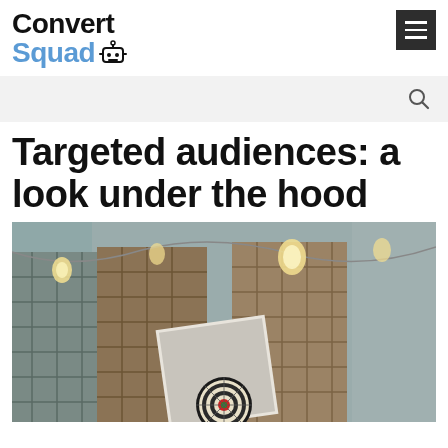Convert Squad
Targeted audiences: a look under the hood
[Figure (photo): Outdoor scene with decorative string lights, wooden pallet stacks against a concrete wall, and a dartboard on the ground in the foreground.]